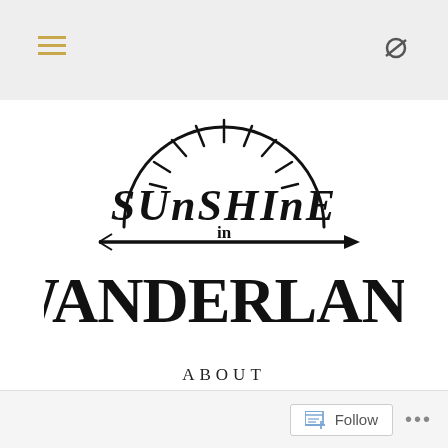Navigation header bar with hamburger menu and search icon
[Figure (logo): Hand-lettered logo reading 'Sunshine in Wanderland' with a sun illustration and arrow, black ink style on white background]
ABOUT
[Figure (illustration): Gold decorative divider with a diamond shape in the center and horizontal lines on each side]
Follow button and options menu in footer bar